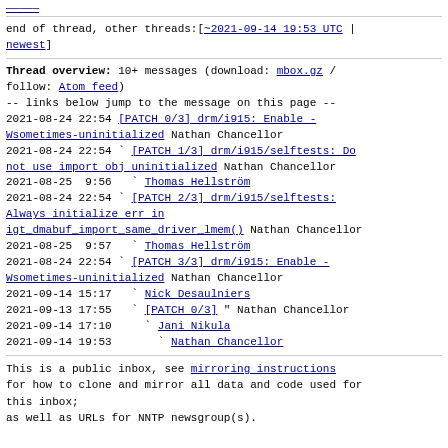[link at top]
end of thread, other threads:[~2021-09-14 19:53 UTC | newest]
Thread overview: 10+ messages (download: mbox.gz / follow: Atom feed)
-- links below jump to the message on this page --
2021-08-24 22:54 [PATCH 0/3] drm/i915: Enable -Wsometimes-uninitialized Nathan Chancellor
2021-08-24 22:54 ` [PATCH 1/3] drm/i915/selftests: Do not use import obj uninitialized Nathan Chancellor
2021-08-25  9:56   ` Thomas Hellström
2021-08-24 22:54 ` [PATCH 2/3] drm/i915/selftests: Always initialize err in igt_dmabuf_import_same_driver_lmem() Nathan Chancellor
2021-08-25  9:57   ` Thomas Hellström
2021-08-24 22:54 ` [PATCH 3/3] drm/i915: Enable -Wsometimes-uninitialized Nathan Chancellor
2021-09-14 15:17   ` Nick Desaulniers
2021-09-13 17:55   ` [PATCH 0/3] " Nathan Chancellor
2021-09-14 17:10     ` Jani Nikula
2021-09-14 19:53       ` Nathan Chancellor
This is a public inbox, see mirroring instructions for how to clone and mirror all data and code used for this inbox;
as well as URLs for NNTP newsgroup(s).